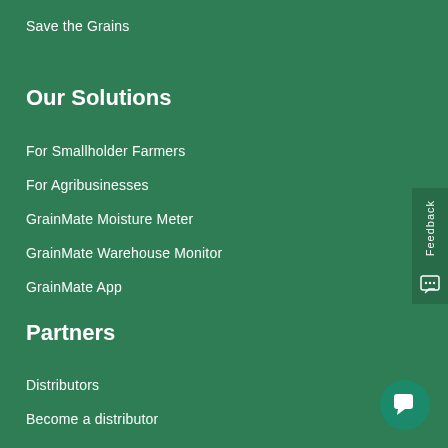Save the Grains
Our Solutions
For Smallholder Farmers
For Agribusinesses
GrainMate Moisture Meter
GrainMate Warehouse Monitor
GrainMate App
Partners
Distributors
Become a distributor